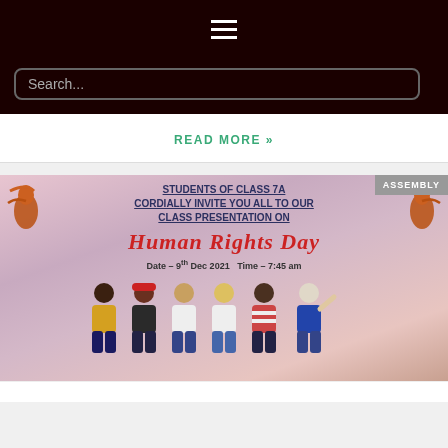≡ (hamburger menu)
Search...
READ MORE »
[Figure (photo): Class presentation invitation poster for Human Rights Day. Text reads: STUDENTS OF CLASS 7A CORDIALLY INVITE YOU ALL TO OUR CLASS PRESENTATION ON HUMAN RIGHTS DAY. Date - 9th Dec 2021 Time - 7:45 am. Illustration of diverse group of people. Orange birds on either side. ASSEMBLY badge in top right corner.]
ASSEMBLY
STUDENTS OF CLASS 7A CORDIALLY INVITE YOU ALL TO OUR CLASS PRESENTATION ON HUMAN RIGHTS DAY Date – 9th Dec 2021 Time – 7:45 am